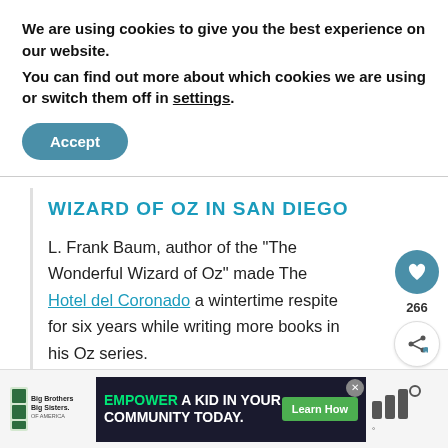We are using cookies to give you the best experience on our website.
You can find out more about which cookies we are using or switch them off in settings.
Accept
WIZARD OF OZ IN SAN DIEGO
L. Frank Baum, author of the “The Wonderful Wizard of Oz” made The Hotel del Coronado a wintertime respite for six years while writing more books in his Oz series.
266
WHAT’S NEXT →
Weekend in San Diego:....
[Figure (infographic): Big Brothers Big Sisters of America logo]
[Figure (infographic): Advertisement banner: EMPOWER A KID IN YOUR COMMUNITY TODAY. with Learn How button]
[Figure (logo): Small logo marks on right side of bottom bar]